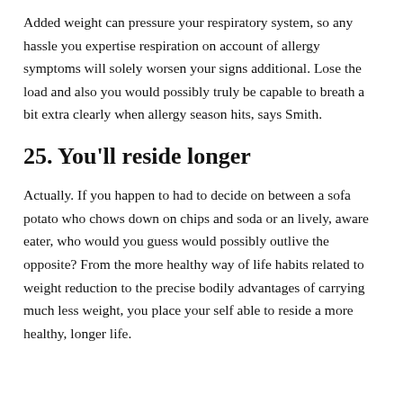Added weight can pressure your respiratory system, so any hassle you expertise respiration on account of allergy symptoms will solely worsen your signs additional. Lose the load and also you would possibly truly be capable to breath a bit extra clearly when allergy season hits, says Smith.
25. You’ll reside longer
Actually. If you happen to had to decide on between a sofa potato who chows down on chips and soda or an lively, aware eater, who would you guess would possibly outlive the opposite? From the more healthy way of life habits related to weight reduction to the precise bodily advantages of carrying much less weight, you place your self able to reside a more healthy, longer life.